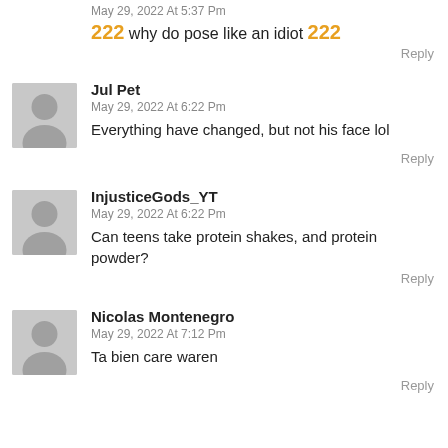May 29, 2022 At 5:37 Pm
🔥🔥🔥 why do pose like an idiot 🔥🔥🔥
Reply
Jul Pet
May 29, 2022 At 6:22 Pm
Everything have changed, but not his face lol
Reply
InjusticeGods_YT
May 29, 2022 At 6:22 Pm
Can teens take protein shakes, and protein powder?
Reply
Nicolas Montenegro
May 29, 2022 At 7:12 Pm
Ta bien care waren
Reply